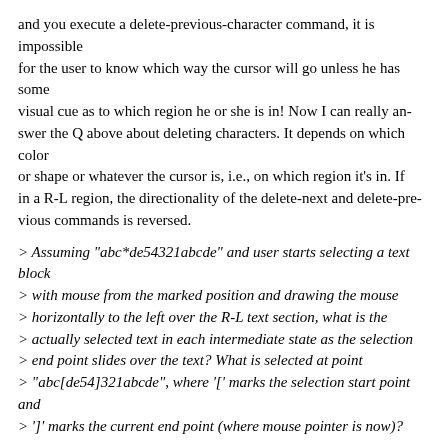and you execute a delete-previous-character command, it is impossible
for the user to know which way the cursor will go unless he has some
visual cue as to which region he or she is in! Now I can really answer the Q above about deleting characters. It depends on which color
or shape or whatever the cursor is, i.e., on which region it's in. If in a R-L region, the directionality of the delete-next and delete-previous commands is reversed.
> Assuming "abc*de54321abcde" and user starts selecting a text block
> with mouse from the marked position and drawing the mouse
> horizontally to the left over the R-L text section, what is the
> actually selected text in each intermediate state as the selection
> end point slides over the text? What is selected at point
> "abc[de54]321abcde", where '[' marks the selection start point and
> ']' marks the current end point (where mouse pointer is now)?
Okay, this raises some really fun and interesting questions. There are several possible ways of doing this. One is purely visually. That is, whatever you select is what you get. Internally, however, it is probable that the 1 above will be near the "e." That is, the